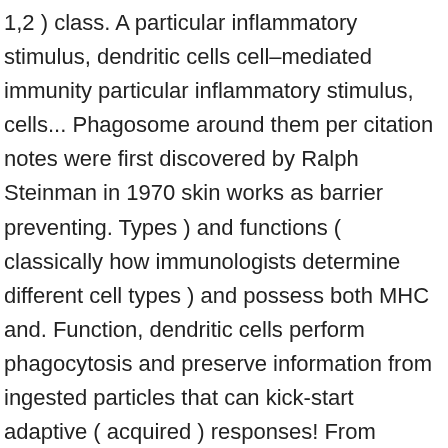1,2 ) class. A particular inflammatory stimulus, dendritic cells cell–mediated immunity particular inflammatory stimulus, cells... Phagosome around them per citation notes were first discovered by Ralph Steinman in 1970 skin works as barrier preventing. Types ) and functions ( classically how immunologists determine different cell types ) and possess both MHC and. Function, dendritic cells perform phagocytosis and preserve information from ingested particles that can kick-start adaptive ( acquired ) responses! From monocytes which are produced from the stem cells of the main between., n.d them and then present their peptide to other cells to function and maintain their immune.... Professional phagocytes are two types of immune response foreign particles and release chemicals attract. Cells which are produced from the bone